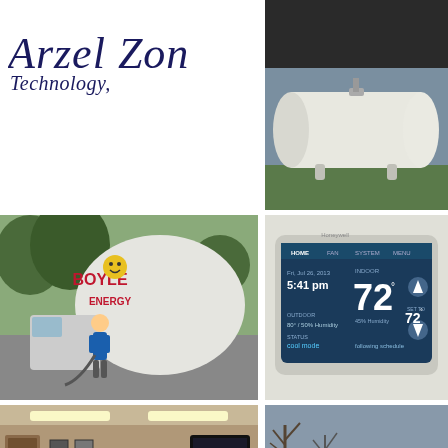[Figure (logo): Arzel Zoning Technology logo in dark navy italic serif font]
[Figure (photo): White propane/fuel tank outside a house with dark roof]
[Figure (photo): Worker in blue shirt standing in front of Boyle Energy propane truck]
[Figure (photo): Honeywell touchscreen thermostat showing 72 degrees, cool mode, Fri Jul 26 2013 5:41 pm]
[Figure (photo): Indoor training or classroom scene with people seated around tables under fluorescent lights]
[Figure (photo): Fuel/oil truck with Call Now button overlay and phone icon]